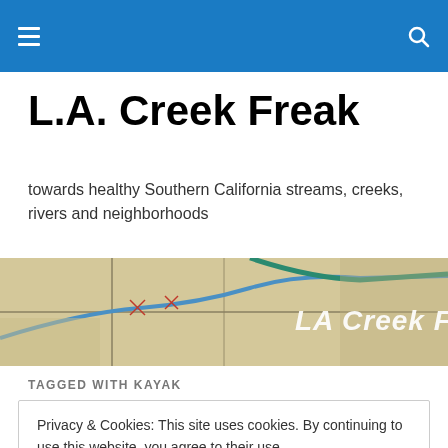L.A. Creek Freak navigation bar
L.A. Creek Freak
towards healthy Southern California streams, creeks, rivers and neighborhoods
[Figure (illustration): Banner image showing an old map of Los Angeles waterways with 'LA Creek Freak' text overlaid in italic white font]
TAGGED WITH KAYAK
Privacy & Cookies: This site uses cookies. By continuing to use this website, you agree to their use. To find out more, including how to control cookies, see here: Cookie Policy